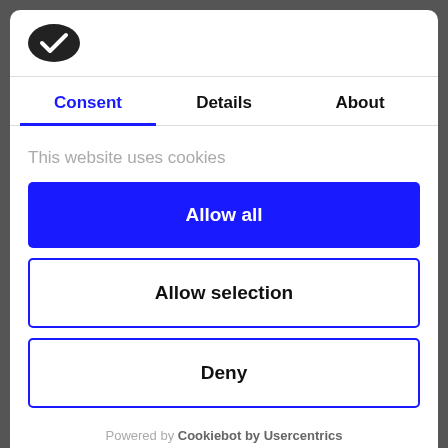[Figure (logo): Cookiebot logo - dark oval with white checkmark]
Consent | Details | About
This website uses cookies
Allow all
Allow selection
Deny
Powered by Cookiebot by Usercentrics